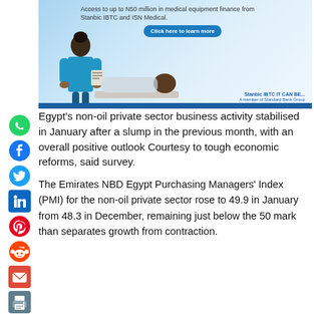[Figure (photo): Advertisement image showing a nurse in blue scrubs attending to a patient lying down, with text about medical equipment finance from Stanbic IBTC and ISN Medical, and a 'Click here to learn more' button]
Egypt's non-oil private sector business activity stabilised in January after a slump in the previous month, with an overall positive outlook Courtesy to tough economic reforms, said survey.
The Emirates NBD Egypt Purchasing Managers' Index (PMI) for the non-oil private sector rose to 49.9 in January from 48.3 in December, remaining just below the 50 mark than separates growth from contraction.